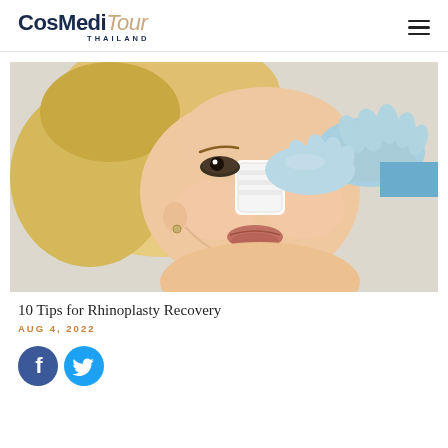CosMediTour THAILAND
[Figure (photo): Woman lying down with a white nasal splint/bandage on her nose after rhinoplasty, with a medical professional in blue gloves gently touching her nose area]
10 Tips for Rhinoplasty Recovery
AUG 4, 2022
[Figure (other): Facebook and Twitter social sharing icons]